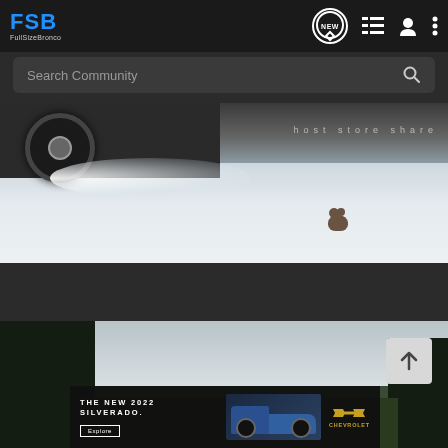FSB FullSizeBronco - Navigation bar with NEW, list, user, and menu icons
Search Community
[Figure (photo): Off-road vehicle tire kicking up snow spray, with a small brown bear visible in the snowy landscape in the background. Watermark text: host store share]
[Figure (photo): Outdoor landscape with dark pine trees on left and right, overcast sky, and an advertisement banner at the bottom for The New 2022 Silverado by Chevrolet with an Explore button]
THE NEW 2022 SILVERADO. Explore | CHEVROLET